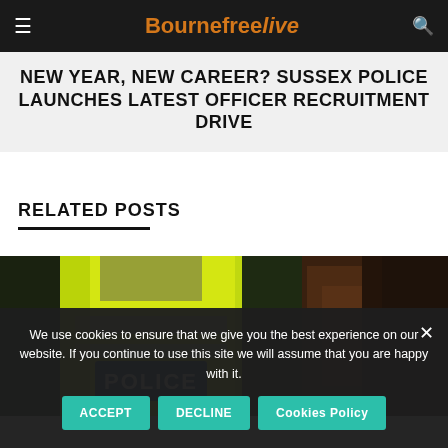Bournefree live
NEW YEAR, NEW CAREER? SUSSEX POLICE LAUNCHES LATEST OFFICER RECRUITMENT DRIVE
RELATED POSTS
[Figure (photo): Back of a police officer wearing a yellow high-visibility jacket with POLICE written on the back]
[Figure (photo): Partially visible image with dark brown/wooden tones, likely a courtroom or interior scene]
We use cookies to ensure that we give you the best experience on our website. If you continue to use this site we will assume that you are happy with it.